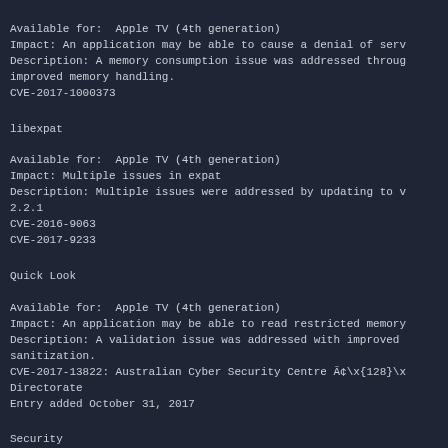Available for:  Apple TV (4th generation)
Impact: An application may be able to cause a denial of serv
Description: A memory consumption issue was addressed throug
improved memory handling.
CVE-2017-1000373
libexpat
Available for:  Apple TV (4th generation)
Impact: Multiple issues in expat
Description: Multiple issues were addressed by updating to v
2.2.1
CVE-2016-9063
CVE-2017-9233
Quick Look
Available for:  Apple TV (4th generation)
Impact: An application may be able to read restricted memory
Description: A validation issue was addressed with improved
sanitization.
CVE-2017-13822: Australian Cyber Security Centre Ã¢\x{128}\x
Directorate
Entry added October 31, 2017
Security
Available for:  Apple TV (4th generation)
Impact: A revoked certificate may be trusted
Description: A certificate validation issue existed in the h
of revocation data. This issue was addressed through improve
validation.
CVE-2017-7080: an anonymous researcher, an anonymous researc
Driemecker of adesso mobile solutions gmbh, Rune Darrud
(@theflyingcorpse) of BÃƒÂ¦rum kommune